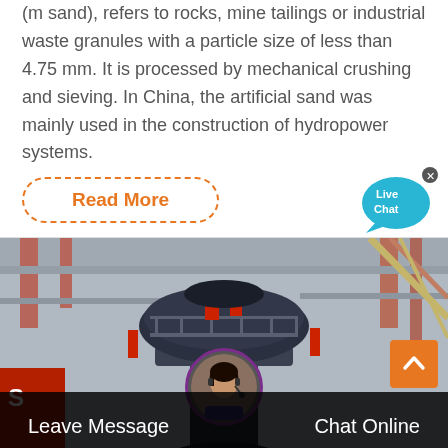(m sand), refers to rocks, mine tailings or industrial waste granules with a particle size of less than 4.75 mm. It is processed by mechanical crushing and sieving. In China, the artificial sand was mainly used in the construction of hydropower systems.
Read More
[Figure (illustration): Live Chat speech bubble icon with 'Live Chat' text, cyan/blue color with X close button]
[Figure (photo): Industrial sand making machine (VSI crusher) photographed inside a factory, showing the large circular top mechanism with railings, red structural elements, and yellow/orange cables in background]
Leave Message
Chat Online